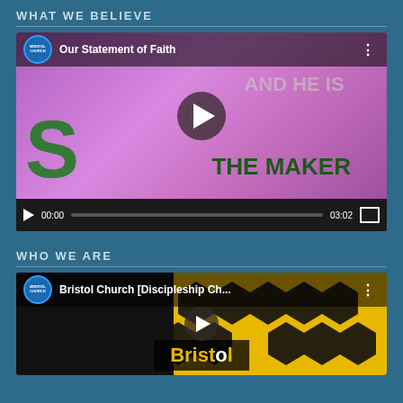WHAT WE BELIEVE
[Figure (screenshot): YouTube embedded video player showing 'Our Statement of Faith' from Bristol Church. Thumbnail shows pink/purple background with green and dark text 'AND HE IS THE MAKER'. Video controls show 00:00 / 03:02 with progress bar and fullscreen button.]
WHO WE ARE
[Figure (screenshot): YouTube embedded video player showing 'Bristol Church [Discipleship Ch...' with yellow and black hexagonal pattern background and 'Bristol' text overlay. Video is partially visible at bottom of page.]